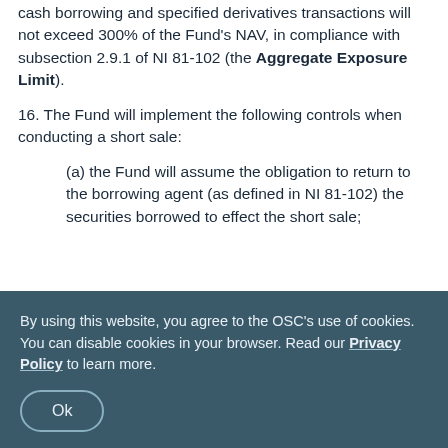15. The Fund's aggregate exposure to short selling, cash borrowing and specified derivatives transactions will not exceed 300% of the Fund's NAV, in compliance with subsection 2.9.1 of NI 81-102 (the Aggregate Exposure Limit).
16. The Fund will implement the following controls when conducting a short sale:
(a) the Fund will assume the obligation to return to the borrowing agent (as defined in NI 81-102) the securities borrowed to effect the short sale;
By using this website, you agree to the OSC's use of cookies. You can disable cookies in your browser. Read our Privacy Policy to learn more.